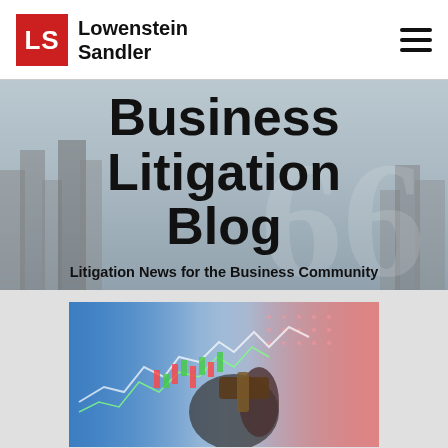Lowenstein Sandler
Business Litigation Blog
Litigation News for the Business Community
[Figure (photo): Financial stock market chart with a hand holding a gavel, blurred background with red and blue tones]